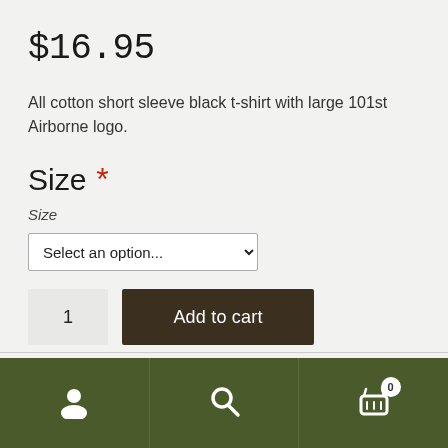$16.95
All cotton short sleeve black t-shirt with large 101st Airborne logo.
Size *
Size
[Figure (screenshot): Dropdown select input with placeholder 'Select an option...']
[Figure (screenshot): Quantity input box showing '1' and 'Add to cart' button]
Navigation bar with user icon, search icon, and cart icon with badge showing 0